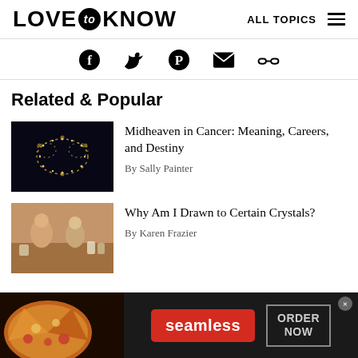LOVE to KNOW  ALL TOPICS
[Figure (infographic): Social media sharing icons: Facebook, Twitter, Pinterest, Email, Link]
Related & Popular
[Figure (photo): Cancer zodiac symbol made of golden stars on dark background]
Midheaven in Cancer: Meaning, Careers, and Destiny
By Sally Painter
[Figure (photo): Two people at a shop counter with jars and items, warm tones]
Why Am I Drawn to Certain Crystals?
By Karen Frazier
[Figure (screenshot): Seamless advertisement banner with pizza image, seamless red button, ORDER NOW button, and close X]